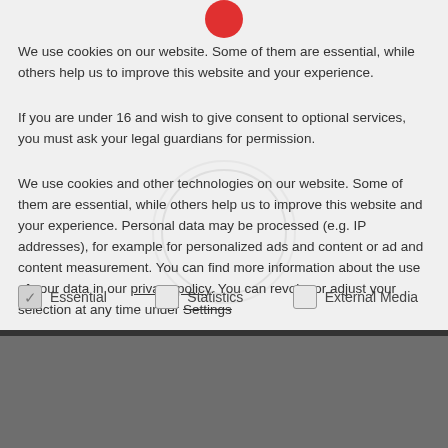[Figure (logo): Red circular logo/icon partially visible at top center]
We use cookies on our website. Some of them are essential, while others help us to improve this website and your experience.
If you are under 16 and wish to give consent to optional services, you must ask your legal guardians for permission.
We use cookies and other technologies on our website. Some of them are essential, while others help us to improve this website and your experience. Personal data may be processed (e.g. IP addresses), for example for personalized ads and content or ad and content measurement. You can find more information about the use of your data in our privacy policy. You can revoke or adjust your selection at any time under Settings
✓  Essential
☐  Statistics
☐  External Media